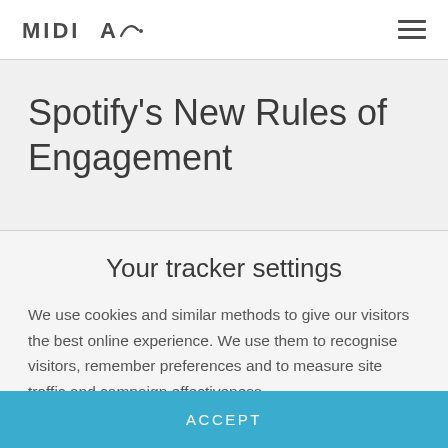MIDIA
Spotify's New Rules of Engagement
Your tracker settings
We use cookies and similar methods to give our visitors the best online experience. We use them to recognise visitors, remember preferences and to measure site traffic and campaign effectiveness.
ACCEPT